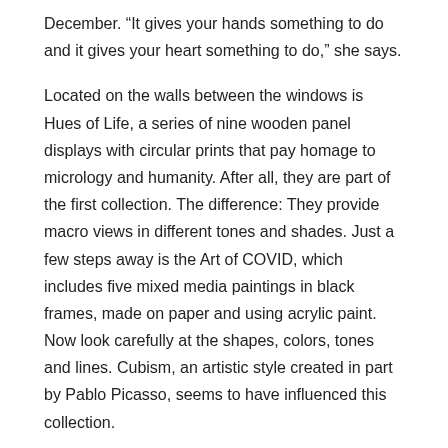December. “It gives your hands something to do and it gives your heart something to do,” she says.
Located on the walls between the windows is Hues of Life, a series of nine wooden panel displays with circular prints that pay homage to micrology and humanity. After all, they are part of the first collection. The difference: They provide macro views in different tones and shades. Just a few steps away is the Art of COVID, which includes five mixed media paintings in black frames, made on paper and using acrylic paint. Now look carefully at the shapes, colors, tones and lines. Cubism, an artistic style created in part by Pablo Picasso, seems to have influenced this collection.
Take the opportunity to take an internal journey and decipher the meaning of a project that began with the onset of the pandemic and its aftermath. The artist tells us: “This tells the story of COVID, the world and the pandemic. And this story about – we have to work together, politics and division. ”